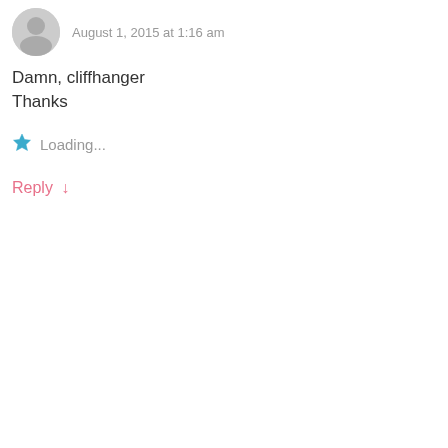August 1, 2015 at 1:16 am
Damn, cliffhanger
Thanks
Loading...
Reply ↓